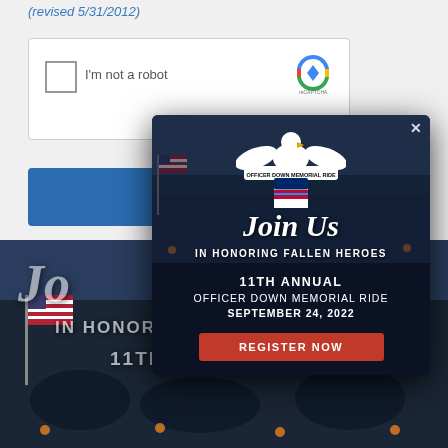(revised 5/31/2012)
[Figure (screenshot): CAPTCHA widget with checkbox labeled 'I'm not a robot' and reCAPTCHA logo]
[Figure (screenshot): Blue button bar]
[Figure (photo): Background photo of motorcycle rally with American flags and bikes, with overlaid text 'Join Us IN HONORING FALLEN HEROES' and '11TH ANNUAL']
[Figure (infographic): Modal popup overlay with Officer Down Memorial Ride eagle logo, text 'Join Us IN HONORING FALLEN HEROES', '11TH ANNUAL OFFICER DOWN MEMORIAL RIDE SEPTEMBER 24, 2022', and a red REGISTER NOW button. Close X button top right.]